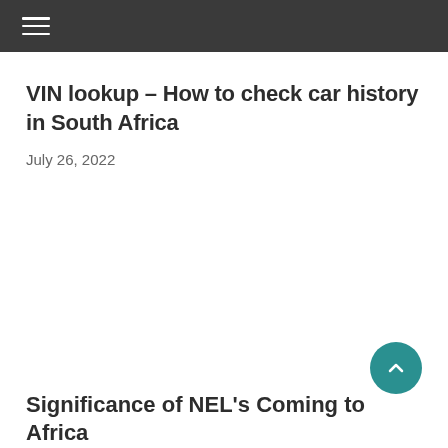VIN lookup – How to check car history in South Africa
July 26, 2022
Significance of NEL's Coming to Africa